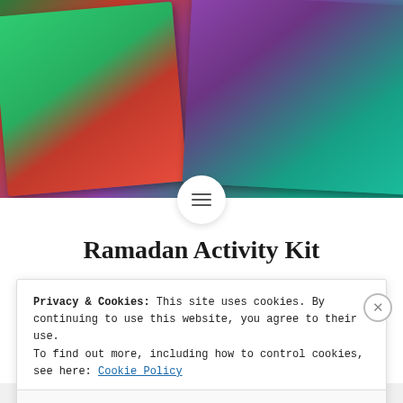[Figure (photo): Photo of Ramadan Activity Kit children's books/activity kits with colorful illustrated covers showing cartoon children characters, with purple and green decorative scenes]
Ramadan Activity Kit
If you read my blog regularly, you probably already
Privacy & Cookies: This site uses cookies. By continuing to use this website, you agree to their use.
To find out more, including how to control cookies, see here: Cookie Policy
Close and accept